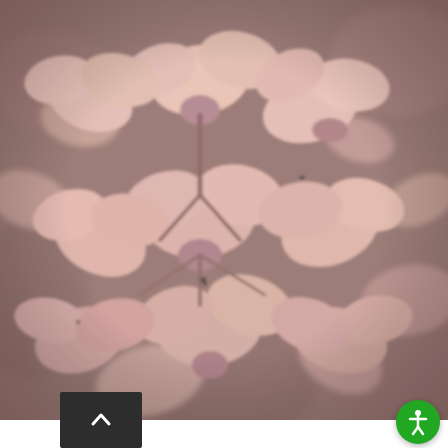[Figure (photo): Close-up photograph of pinkish-red leaves with a muted, washed-out color tone. The leaves appear to be from a shrub or small tree, with multiple small leaf clusters visible. The background is blurred with dark greenish-brown tones. The overall image has a soft, desaturated pink-rose hue.]